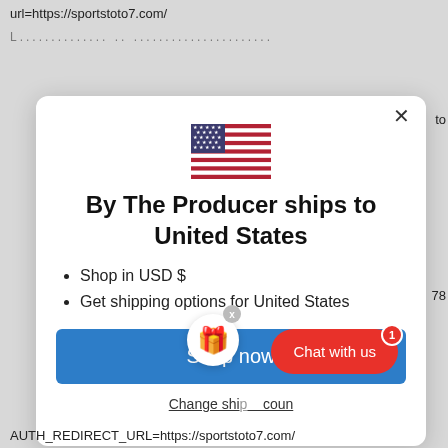url=https://sportstoto7.com/
[Figure (screenshot): Modal dialog showing US flag, 'By The Producer ships to United States' heading, bullet points for USD and shipping options, a 'Shop now' blue button, and a 'Change shipping country' link. Overlaid with a gift icon circle, a chat with us red pill button, and notification badge.]
AUTH_REDIRECT_URL=https://sportstoto7.com/